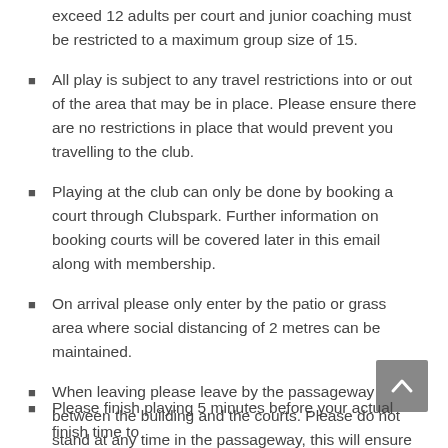exceed 12 adults per court and junior coaching must be restricted to a maximum group size of 15.
All play is subject to any travel restrictions into or out of the area that may be in place. Please ensure there are no restrictions in place that would prevent you travelling to the club.
Playing at the club can only be done by booking a court through Clubspark. Further information on booking courts will be covered later in this email along with membership.
On arrival please only enter by the patio or grass area where social distancing of 2 metres can be maintained.
When leaving please leave by the passageway between the building and the courts. Please do not stand at any time in the passageway, this will ensure we can have a safe flow around the club.
We would ask members to use the NHS covid-19 test and trace app by checking in on the QR code displayed on the clubhouse window.
Please finish playing 5 minutes before your actual finish time to…